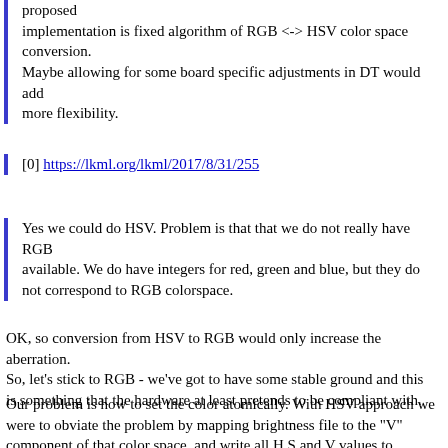proposed
implementation is fixed algorithm of RGB <-> HSV color space conversion.
Maybe allowing for some board specific adjustments in DT would add
more flexibility.
[0] https://lkml.org/lkml/2017/8/31/255
Yes we could do HSV. Problem is that that we do not really have RGB
available. We do have integers for red, green and blue, but they do
not correspond to RGB colorspace.
OK, so conversion from HSV to RGB would only increase the aberration.
So, let's stick to RGB - we've got to have some stable ground and this
is something that the hardware at least pretends to be compliant with.
Our problem is how to set the color atomically. With HSV approach we
were to obviate the problem by mapping brightness file to the "V"
component of that color space, and write all H,S and V values to